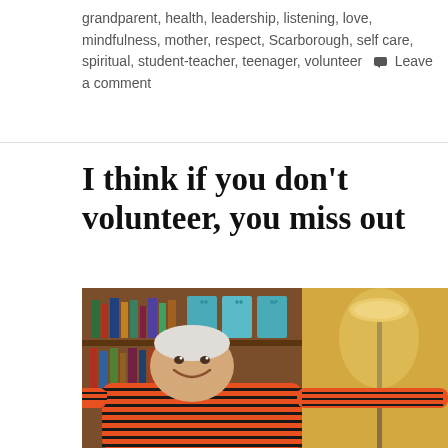grandparent, health, leadership, listening, love, mindfulness, mother, respect, Scarborough, self care, spiritual, student-teacher, teenager, volunteer   Leave a comment
I think if you don't volunteer, you miss out
[Figure (photo): An older man with white hair, smiling broadly with arms outstretched, wearing an orange and black striped polo shirt. Behind him is a bookshelf with books and boxes, and to the right is a floor lamp in a warmly lit room.]